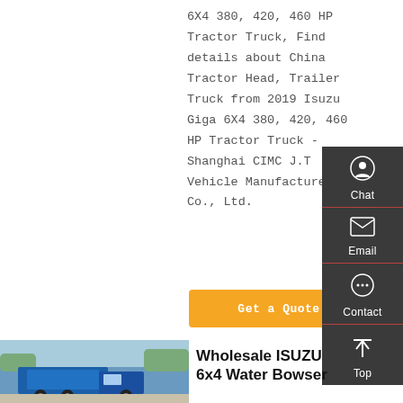6X4 380, 420, 460 HP Tractor Truck, Find details about China Tractor Head, Trailer Truck from 2019 Isuzu Giga 6X4 380, 420, 460 HP Tractor Truck - Shanghai CIMC J.T Vehicle Manufacturer Co., Ltd.
Get a Quote
[Figure (screenshot): Dark sidebar with Chat (headset icon), Email (envelope icon), Contact (speech bubble icon), Top (up arrow icon) buttons]
[Figure (photo): Blue ISUZU dump truck parked outdoors with trees in background]
Wholesale ISUZU 6x4 Water Bowser